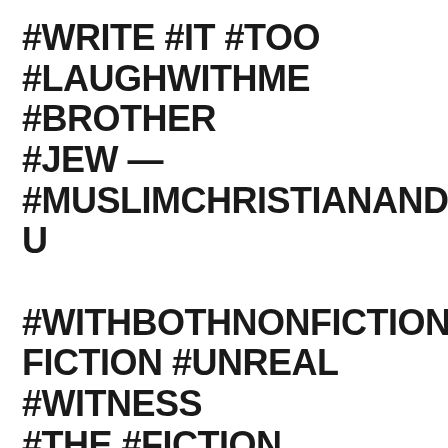#WRITE #IT #TOO #LAUGHWITHME #BROTHER #JEW — #MUSLIMCHRISTIANANDHINDUU #WITHBOTHNONFICTIONANDFICTION #UNREAL #WITNESS #THE #FICTION WITNESS #THE #DEARTHS #OFHUMANITY #ONTHEGOODEARTH #RECALLING #THE #EARLY